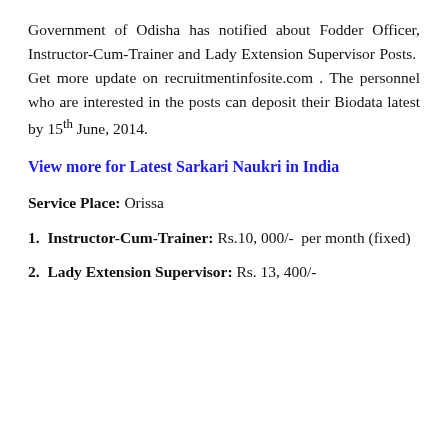Government of Odisha has notified about Fodder Officer, Instructor-Cum-Trainer and Lady Extension Supervisor Posts. Get more update on recruitmentinfosite.com . The personnel who are interested in the posts can deposit their Biodata latest by 15th June, 2014.
View more for Latest Sarkari Naukri in India
Service Place: Orissa
1. Instructor-Cum-Trainer: Rs.10, 000/- per month (fixed)
2. Lady Extension Supervisor: Rs. 13, 400/-